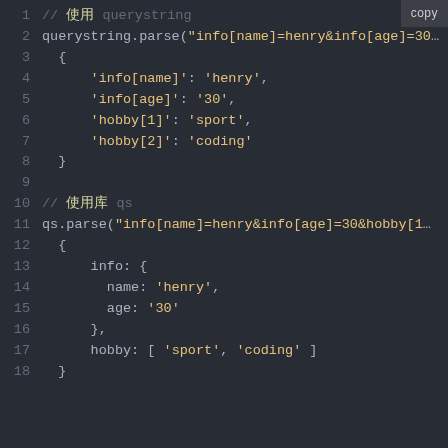[Figure (screenshot): Code editor screenshot showing JavaScript code comparing querystring and qs module parsing of URL query strings with nested objects and arrays. Lines 1-18 are visible. Line 1: comment about querystring module. Line 2: querystring.parse call. Lines 3-8: result object with flat keys. Line 10: comment about qs module. Line 11: qs.parse call. Lines 12-18: result object with nested info object and hobby array. A 'copy' button is visible in the top right corner.]